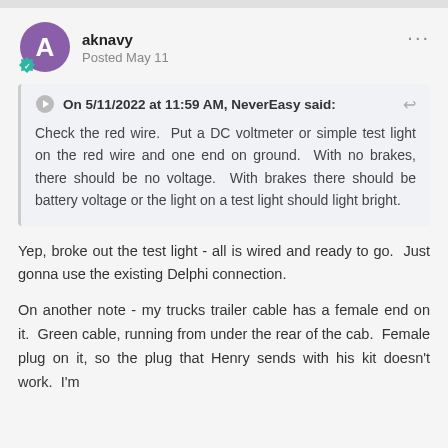aknavy — Posted May 11
On 5/11/2022 at 11:59 AM, NeverEasy said:
Check the red wire.  Put a DC voltmeter or simple test light on the red wire and one end on ground.  With no brakes, there should be no voltage.  With brakes there should be battery voltage or the light on a test light should light bright.
Yep, broke out the test light - all is wired and ready to go.  Just gonna use the existing Delphi connection.
On another note - my trucks trailer cable has a female end on it.  Green cable, running from under the rear of the cab.  Female plug on it, so the plug that Henry sends with his kit doesn't work.  I'm